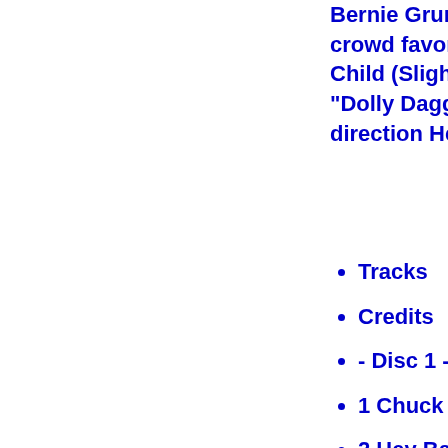Bernie Grundman. Includes crowd favorites like "Foxey Child (Slight Return), " as well as "Dolly Dagger" and "Freed... direction Hendrix was mov...
Tracks
Credits
- Disc 1 -
1 Chuck Wein Introd...
2 Hey Baby (New Ris...
3 In from the Storm
4 Foxey Lady
5 Hear My Train A-Co...
6 Voodoo Child (Slig...
7 Fire
8 Purple Haze